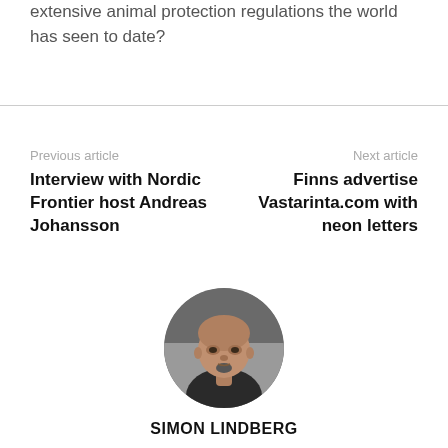extensive animal protection regulations the world has seen to date?
Previous article
Interview with Nordic Frontier host Andreas Johansson
Next article
Finns advertise Vastarinta.com with neon letters
[Figure (photo): Circular portrait photo of Simon Lindberg, a bald man with a goatee wearing a dark jacket, with a crowd in the background.]
SIMON LINDBERG